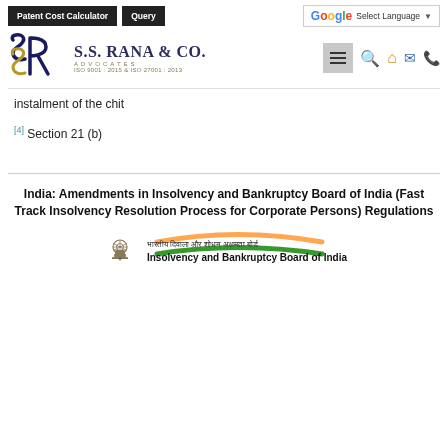S.S. Rana & Co. Advocates | Patent Cost Calculator | Query | Select Language
instalment of the chit
[4] Section 21 (b)
India: Amendments in Insolvency and Bankruptcy Board of India (Fast Track Insolvency Resolution Process for Corporate Persons) Regulations
[Figure (logo): Insolvency and Bankruptcy Board of India logo with Ashoka emblem, Hindi text, Indian flag swoosh decoration, and English name]